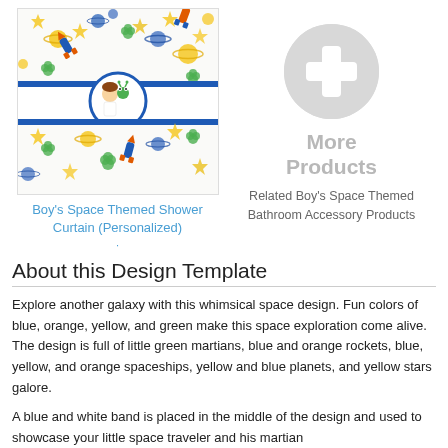[Figure (photo): Boy's space themed shower curtain with colorful space pattern including rockets, planets, stars, green martians, and spaceships. A blue and white band in the middle features a personalized name 'Alexander'.]
Boy's Space Themed Shower Curtain (Personalized)
[Figure (illustration): Gray circle with white plus sign indicating 'More Products']
Related Boy's Space Themed Bathroom Accessory Products
About this Design Template
Explore another galaxy with this whimsical space design. Fun colors of blue, orange, yellow, and green make this space exploration come alive. The design is full of little green martians, blue and orange rockets, blue, yellow, and orange spaceships, yellow and blue planets, and yellow stars galore.
A blue and white band is placed in the middle of the design and used to showcase your little space traveler and his martian